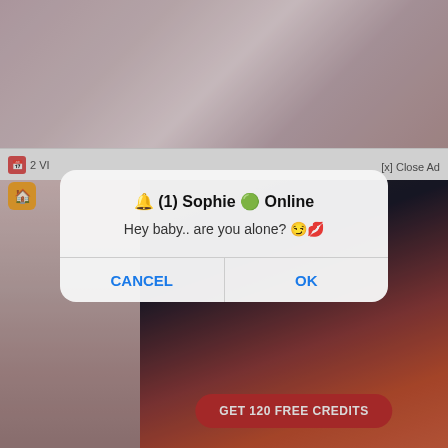[Figure (screenshot): Screenshot of a mobile web browser showing adult content website with a browser dialog popup. The dialog has title '🔔 (1) Sophie 🟢 Online', message 'Hey baby.. are you alone? 😏💋', and CANCEL/OK buttons. Background shows blurred adult images and an advertisement with 'GET 120 FREE CREDITS' button.]
🔔 (1) Sophie 🟢 Online
Hey baby.. are you alone? 😏💋
CANCEL
OK
GET 120 FREE CREDITS